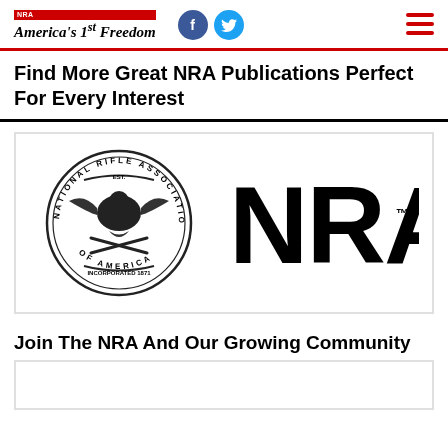NRA America's 1st Freedom
Find More Great NRA Publications Perfect For Every Interest
[Figure (logo): NRA logo: National Rifle Association of America circular seal on the left, bold NRA text on the right with TM mark]
Join The NRA And Our Growing Community